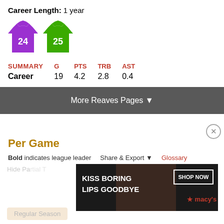Career Length: 1 year
[Figure (illustration): Two basketball jerseys: purple #24, green #25]
| SUMMARY | G | PTS | TRB | AST |
| --- | --- | --- | --- | --- |
| Career | 19 | 4.2 | 2.8 | 0.4 |
More Reaves Pages ▼
Per Game
Bold indicates league leader   Share & Export ▼   Glossary
[Figure (photo): Advertisement: KISS BORING LIPS GOODBYE with SHOP NOW and Macy's logo]